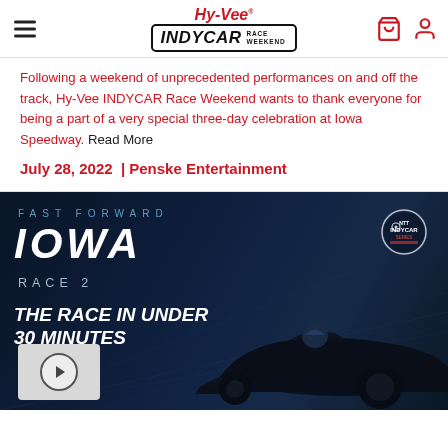Hy-Vee INDYCAR RACE WEEKEND
Following a weekend of unprecedented performances on and off the track, Hy-Vee INDYCAR Race Weekend wants to thank everyone for being a part of a very special three-day celebration at Iowa Speedway. Read More
July 28, 2022  |  Penske Entertainment
[Figure (screenshot): Fast Forward Iowa Race 2 promotional video thumbnail with dark blue background, IndyCar race car silhouette, NTT IndyCar Series badge, text reading FAST FORWARD / IOWA / RACE 2 / THE RACE IN UNDER 30 MINUTES, and a play button thumbnail in bottom left.]